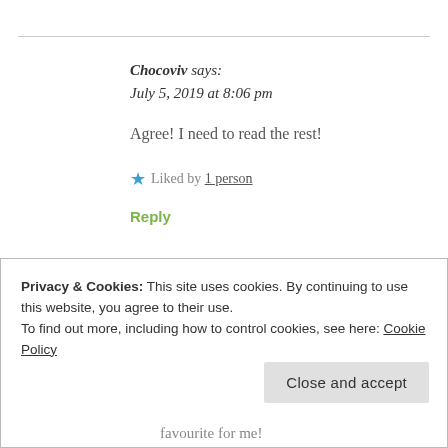Chocoviv says:
July 5, 2019 at 8:06 pm
Agree! I need to read the rest!
★ Liked by 1 person
Reply
Privacy & Cookies: This site uses cookies. By continuing to use this website, you agree to their use.
To find out more, including how to control cookies, see here: Cookie Policy
Close and accept
favourite for me!